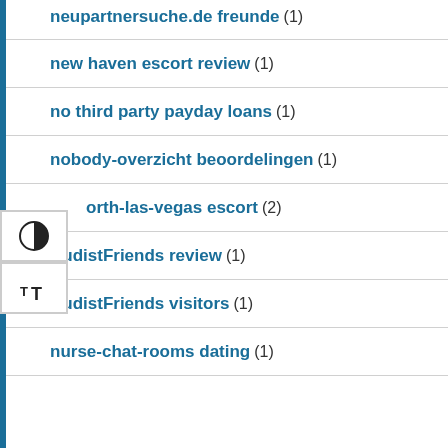neupartnersuche.de freunde (1)
new haven escort review (1)
no third party payday loans (1)
nobody-overzicht beoordelingen (1)
orth-las-vegas escort (2)
NudistFriends review (1)
NudistFriends visitors (1)
nurse-chat-rooms dating (1)